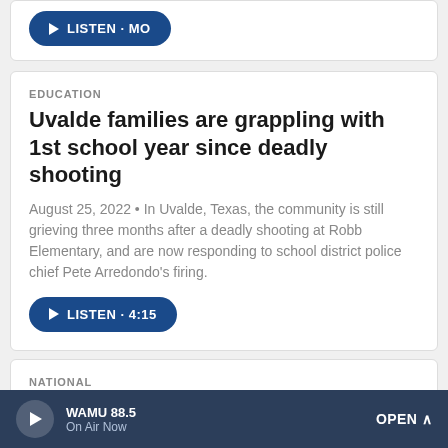[Figure (screenshot): Top card partial — listen button from previous article]
EDUCATION
Uvalde families are grappling with 1st school year since deadly shooting
August 25, 2022 • In Uvalde, Texas, the community is still grieving three months after a deadly shooting at Robb Elementary, and are now responding to school district police chief Pete Arredondo's firing.
[Figure (other): LISTEN 4:15 button]
NATIONAL
Uvalde's city manager reflects on where the community is 3 months after mass shooting
August 24, 2022 • NPR's Juana Summers speaks
WAMU 88.5 On Air Now OPEN ^